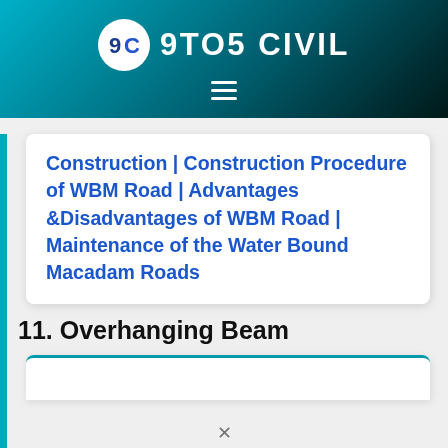9TO5 CIVIL
Construction | Construction Procedure of WBM Road | Advantages &Disadvantages of WBM Road | Maintenance of the Water Bound Macadam Roads
11. Overhanging Beam
[Figure (other): Partial card box with teal top border visible at bottom of page]